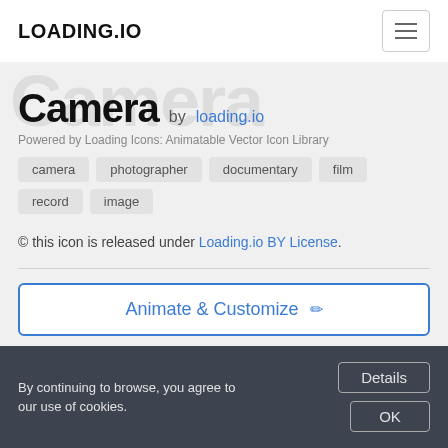LOADING.IO
Camera by loading.io
Powered by Loading Icons: Animatable Vector Icon Library
camera
photographer
documentary
film
record
image
© this icon is released under Loading.io BY License.
Animate & Customize
https://loading.io/icon/lcify1  Share
By continuing to browse, you agree to our use of cookies.  Details  OK